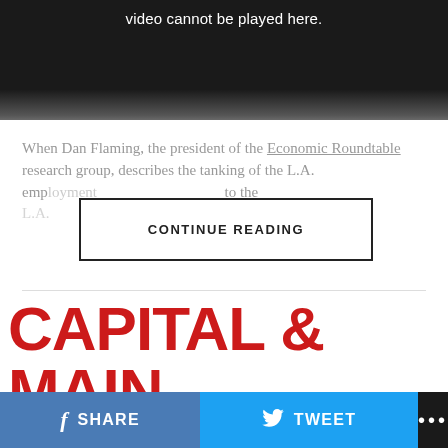[Figure (screenshot): Dark video player placeholder with text 'video cannot be played here.' in white on dark/black gradient background]
When Dan Flaming, the president of the Economic Roundtable research group, describes the tanking of the L.A. employment... to the...
CONTINUE READING
[Figure (logo): Capital & Main logo - red bold text 'CAPITAL & MAIN' with subtitle 'INVESTIGATING MONEY, POWER AND SOCIETY' in black]
SHARE
TWEET
...